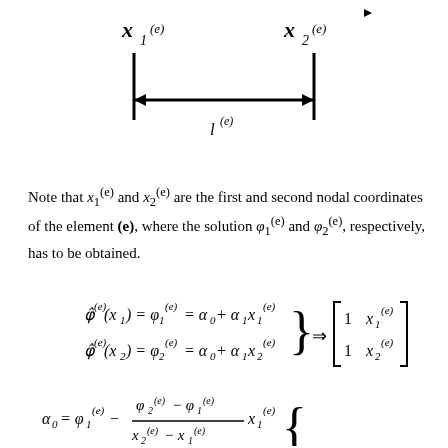[Figure (engineering-diagram): Diagram showing a 1D finite element with two nodes. X1^(e) on the left and X2^(e) on the right, connected by a horizontal double-headed arrow labeled l^(e), with vertical tick marks at each node.]
Note that x_1^(e) and x_2^(e) are the first and second nodal coordinates of the element (e), where the solution φ_1^(e) and φ_2^(e), respectively, has to be obtained.